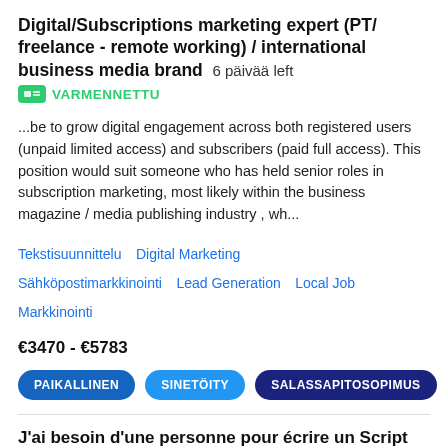Digital/Subscriptions marketing expert (PT/freelance - remote working) / international business media brand  6 päivää left
VARMENNETTU
...be to grow digital engagement across both registered users (unpaid limited access) and subscribers (paid full access). This position would suit someone who has held senior roles in subscription marketing, most likely within the business magazine / media publishing industry , wh...
Tekstisuunnittelu  Digital Marketing  Sähköpostimarkkinointi  Lead Generation  Local Job  Markkinointi
€3470 - €5783
PAIKALLINEN  SINETÖITY  SALASSAPITOSOPIMUS
J'ai besoin d'une personne pour écrire un Script de 1800 a 2500 mots pour nos chaine youtube  6